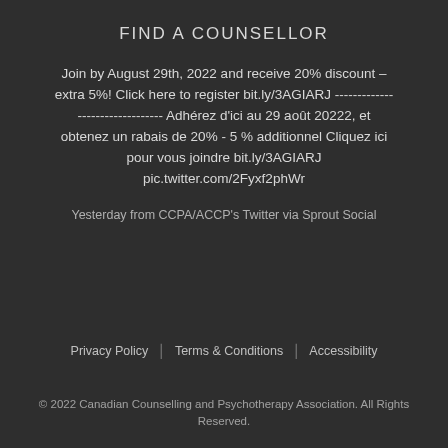FIND A COUNSELLOR
Join by August 29th, 2022 and receive 20% discount – extra 5%! Click here to register bit.ly/3AGIARJ ----------------------------------- Adhérez d'ici au 29 août 20222, et obtenez un rabais de 20% - 5 % additionnel Cliquez ici pour vous joindre bit.ly/3AGIARJ pic.twitter.com/2Fyxf2phWr
Yesterday from CCPA/ACCP's Twitter via Sprout Social
Privacy Policy | Terms & Conditions | Accessibility
© 2022 Canadian Counselling and Psychotherapy Association. All Rights Reserved.